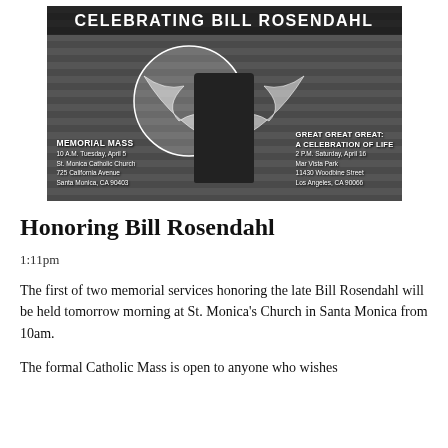[Figure (photo): Memorial announcement photo showing Bill Rosendahl standing with arms raised in front of a metal shutter with painted angel wings behind him. Text overlays read 'CELEBRATING BILL ROSENDAHL' at top, 'MEMORIAL MASS / 10 A.M. TUESDAY, APRIL 5 / ST. MONICA CATHOLIC CHURCH / 725 CALIFORNIA AVENUE / SANTA MONICA, CA 90403' on lower left, and 'GREAT GREAT GREAT: A CELEBRATION OF LIFE / 2 P.M. SATURDAY, APRIL 16 / MAR VISTA PARK / 11430 WOODBINE STREET / LOS ANGELES, CA 90066' on lower right.]
Honoring Bill Rosendahl
1:11pm
The first of two memorial services honoring the late Bill Rosendahl will be held tomorrow morning at St. Monica's Church in Santa Monica from 10am.
The formal Catholic Mass is open to anyone who wishes